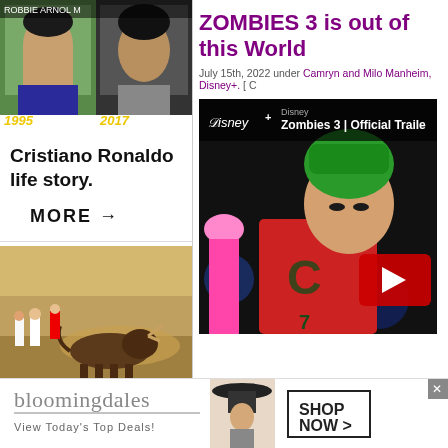[Figure (photo): Two photos of Cristiano Ronaldo side by side, labeled 1995 and 2017]
Cristiano Ronaldo life story.
MORE →
[Figure (photo): Photo of bullfighting festival showing runners and a bull]
Most awesome bullfighting festival
ZOMBIES 3 is out of this World
July 15th, 2022 under Camryn and Milo Manheim, Disney+. [ C
[Figure (screenshot): YouTube video thumbnail for Zombies 3 Official Trailer on Disney+, showing a boy in a red jersey with green hair]
[Figure (infographic): Bloomingdales advertisement: View Today's Top Deals! SHOP NOW >]